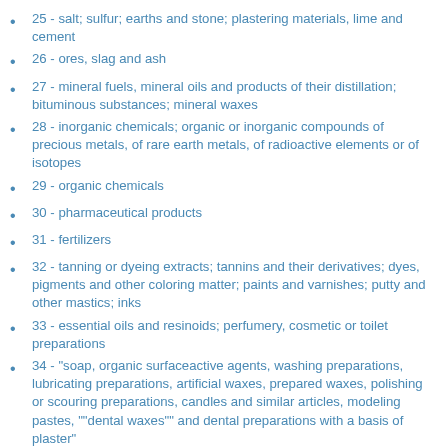25 - salt; sulfur; earths and stone; plastering materials, lime and cement
26 - ores, slag and ash
27 - mineral fuels, mineral oils and products of their distillation; bituminous substances; mineral waxes
28 - inorganic chemicals; organic or inorganic compounds of precious metals, of rare earth metals, of radioactive elements or of isotopes
29 - organic chemicals
30 - pharmaceutical products
31 - fertilizers
32 - tanning or dyeing extracts; tannins and their derivatives; dyes, pigments and other coloring matter; paints and varnishes; putty and other mastics; inks
33 - essential oils and resinoids; perfumery, cosmetic or toilet preparations
34 - "soap, organic surfaceactive agents, washing preparations, lubricating preparations, artificial waxes, prepared waxes, polishing or scouring preparations, candles and similar articles, modeling pastes, ""dental waxes"" and dental preparations with a basis of plaster"
35 - albuminoidal substances; modified starches; glues; enzymes
36 - explosives; pyrotechnic products; matches; pyrophoric